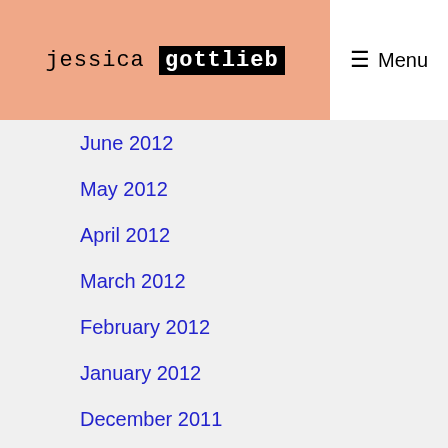jessica gottlieb
June 2012
May 2012
April 2012
March 2012
February 2012
January 2012
December 2011
November 2011
October 2011
September 2011